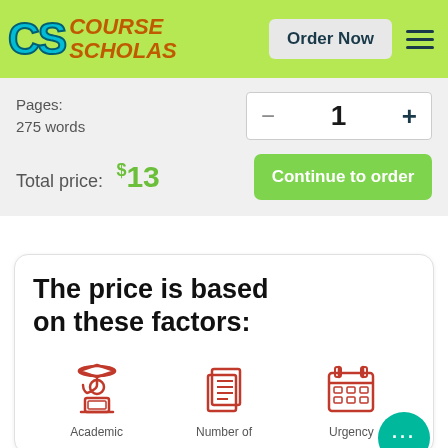[Figure (logo): CourseScholars logo with CS letters in teal and 'Course Scholas' in orange italic, on green background with Order Now button and hamburger menu]
Pages:
275 words
1
Total price: $13
Continue to order
The price is based on these factors:
[Figure (illustration): Three red outline icons: Academic (graduate with laptop), Number of (stacked pages), Urgency (calendar)]
Academic  Number of  Urgency